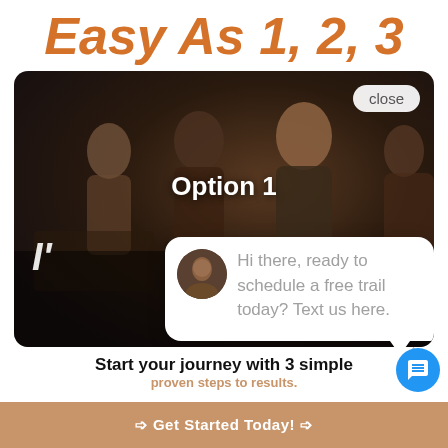Easy As 1, 2, 3
[Figure (screenshot): Dark gym photo with people on exercise bikes, overlaid with 'Option 1' text, a chat popup saying 'Hi there, ready to schedule a free trail today? Text us here.', a close button, and a chat icon button.]
Start your journey with 3 simple
proven steps to results.
➩ Get Started Today! ➩